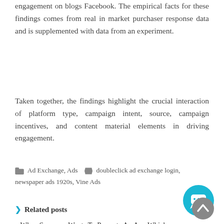engagement on blogs Facebook. The empirical facts for these findings comes from real in market purchaser response data and is supplemented with data from an experiment.
Taken together, the findings highlight the crucial interaction of platform type, campaign intent, source, campaign incentives, and content material elements in driving engagement.
Ad Exchange, Ads   doubleclick ad exchange login, newspaper ads 1920s, Vine Ads
Related posts
» When Someone Wants To Promote An App Which